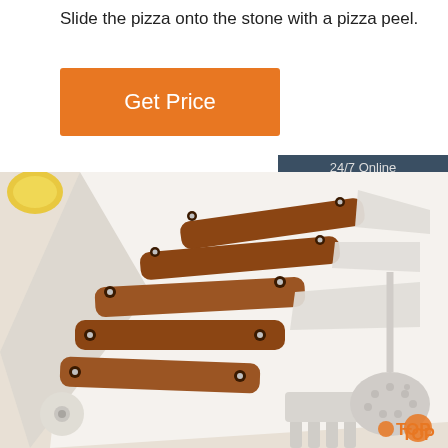Slide the pizza onto the stone with a pizza peel.
[Figure (other): Orange 'Get Price' button]
[Figure (other): Chat widget with '24/7 Online' header, photo of woman with headset, 'Click here for free chat!' text, and orange QUOTATION button]
[Figure (photo): Kitchen utensils with wooden handles and stainless steel heads arranged on a white surface, including spatulas, a slotted spoon, and a fork. A lemon is visible in the top left corner.]
[Figure (logo): TOP logo with orange dot icon in bottom right corner]